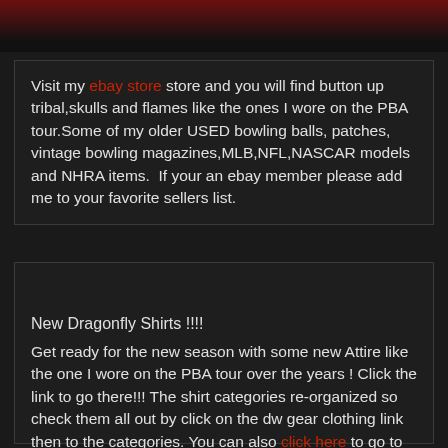Visit my ebay store store and you will find button up tribal,skulls and flames like the ones I wore on the PBA tour.Some of my older USED bowling balls, patches, vintage bowling magazines,MLB,NFL,NASCAR models and NHRA items.  If your an ebay member please add me to your favorite sellers list.
New Dragonfly Shirts !!!!
Get ready for the new season with some new Attire like the one I wore on the PBA tour over the years ! Click the link to go there!!! The shirt categories re-organized so check them all out by click on the dw gear clothing link then to the categories. You can also click here to go to my ebay store.